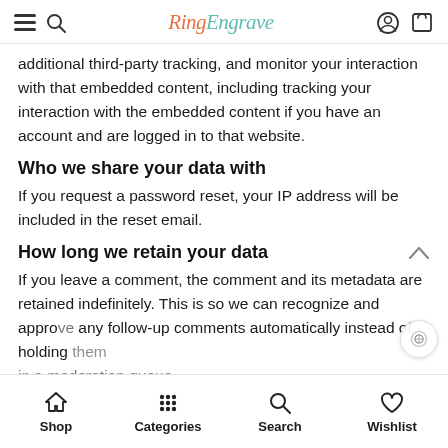RingEngrave (logo with navigation icons)
additional third-party tracking, and monitor your interaction with that embedded content, including tracking your interaction with the embedded content if you have an account and are logged in to that website.
Who we share your data with
If you request a password reset, your IP address will be included in the reset email.
How long we retain your data
If you leave a comment, the comment and its metadata are retained indefinitely. This is so we can recognize and approve any follow-up comments automatically instead of holding them in a moderation queue.
Shop | Categories | Search | Wishlist